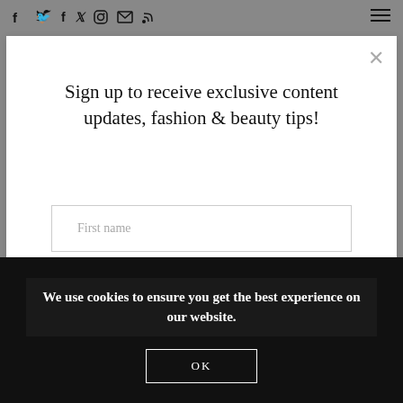f  Twitter  Instagram  Email  RSS  [hamburger menu]
Sign up to receive exclusive content updates, fashion & beauty tips!
First name
Enter email address
We use cookies to ensure you get the best experience on our website.
OK